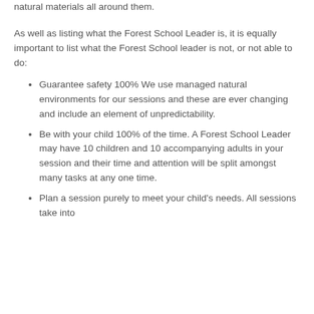natural materials all around them.
As well as listing what the Forest School Leader is, it is equally important to list what the Forest School leader is not, or not able to do:
Guarantee safety 100% We use managed natural environments for our sessions and these are ever changing and include an element of unpredictability.
Be with your child 100% of the time. A Forest School Leader may have 10 children and 10 accompanying adults in your session and their time and attention will be split amongst many tasks at any one time.
Plan a session purely to meet your child's needs. All sessions take into